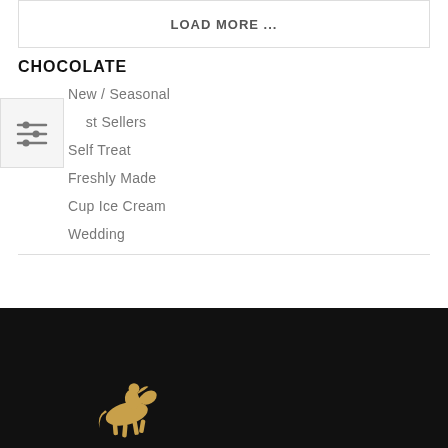LOAD MORE ...
CHOCOLATE
New / Seasonal
Best Sellers
Self Treat
Freshly Made
Cup Ice Cream
Wedding
[Figure (logo): Golden horse and rider logo on black background footer]